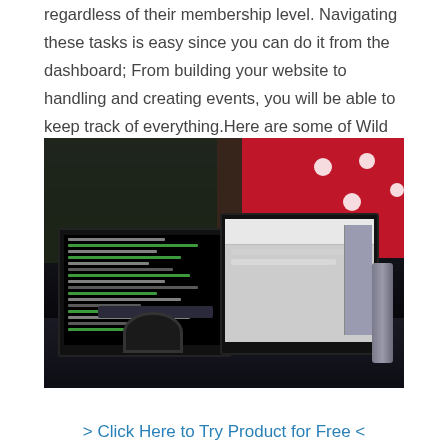regardless of their membership level. Navigating these tasks is easy since you can do it from the dashboard; From building your website to handling and creating events, you will be able to keep track of everything.Here are some of Wild Apricot's features.
[Figure (photo): A desk setup with two computer monitors showing code and a desktop interface, headphones, keyboard, and a microphone against a red and plant background.]
> Click Here to Try Product for Free <